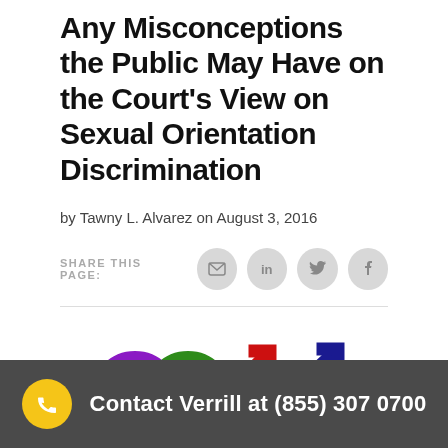Any Misconceptions the Public May Have on the Court's View on Sexual Orientation Discrimination
by Tawny L. Alvarez on August 3, 2016
SHARE THIS PAGE:
[Figure (illustration): Colorful gender symbols (male/female) interlinked in rainbow colors representing sexual orientation and LGBT themes]
Contact Verrill at (855) 307 0700